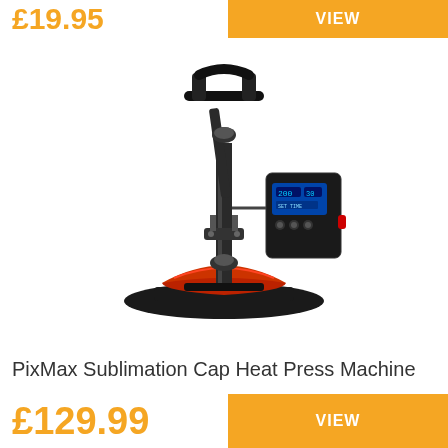£19.95
VIEW
[Figure (photo): PixMax Sublimation Cap Heat Press Machine — a black heat press machine with a red curved cap attachment at the bottom, a vertical arm with handle at top, and a digital control unit on the right side.]
PixMax Sublimation Cap Heat Press Machine
£129.99
VIEW